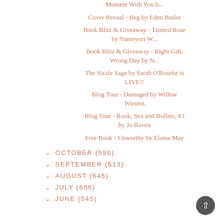Moment With You b...
Cover Reveal - Beg by Eden Butler
Book Blitz & Giveaway - Tainted Rose by Yumoyori W...
Book Blitz & Giveaway - Right Gift. Wrong Day by N...
The Sizzle Saga by Sarah O'Rourke is LIVE!!
Blog Tour - Damaged by Willow Winters
Blog Tour - Rook, Sex and Bullets, #3 by Jo Raven
Free Book - Unworthy by Elaine May
OCTOBER (596)
SEPTEMBER (613)
AUGUST (646)
JULY (606)
JUNE (545)